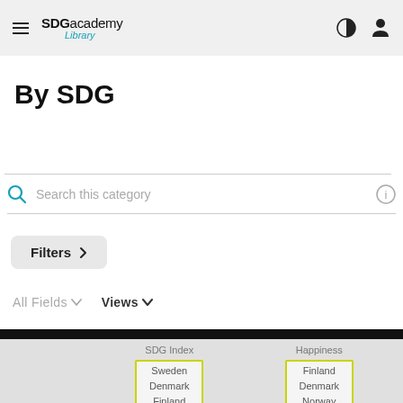SDG academy Library
By SDG
Search this category
Filters >
All Fields ▾  Views ▾
|  | SDG Index | Happiness |
| --- | --- | --- |
|  | Sweden
Denmark
Finland | Finland
Denmark
Norway |